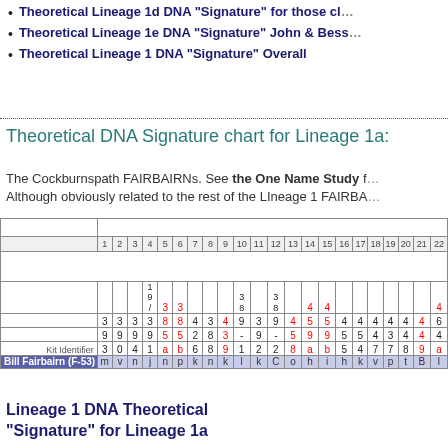Theoretical Lineage 1d DNA "Signature" for those cl...
Theoretical Lineage 1e DNA "Signature" John & Bess...
Theoretical Lineage 1 DNA "Signature" Overall
Theoretical DNA Signature chart for Lineage 1a:
The Cockburnspath FAIRBAIRNs. See the One Name Study f... Although obviously related to the rest of the Lineage 1 FAIRBA...
|  | 1 | 2 | 3 | 4 | 5 | 6 | 7 | 8 | 9 | 10 | 11 | 12 | 13 | 14 | 15 | 16 | 17 | 18 | 19 | 20 | 21 | 22 |
| --- | --- | --- | --- | --- | --- | --- | --- | --- | --- | --- | --- | --- | --- | --- | --- | --- | --- | --- | --- | --- | --- | --- |
|  |  |  |  |  |  |  |  |  |  |  |  |  |  |  |  |  |  |  |  |  |  |  |
|  | 3 | 3 | 3 | 3 | 8 | 8 | 4 | 3 | 4 | 9 | 3 | 9 | 4 | 5 | 5 | 4 | 4 | 4 | 4 | 4 | 4 | 6 |
|  | 9 | 9 | 9 | 9 | 5 | 5 | 2 | 8 | 3 | - | 9 | - | 5 | 9 | 9 | 5 | 5 | 4 | 3 | 4 | 4 | 4 |
| Kit Identifier | 3 | 0 | 4 | 1 | a | b | 6 | 8 | 9 | 1 | 2 | 2 | 8 | a | b | 5 | 4 | 7 | 7 | 8 | 9 | a |
| Bill Fairbairn (F-53) | m | v | n | j | n | p | k | n | k | l | k | C | o | h | i | h | k | v | p | t | B | l |
Lineage 1 DNA Theoretical "Signature" for Lineage 1a